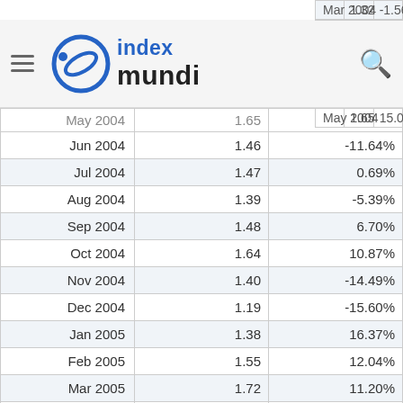index mundi — navigation header
| Month | Value | Change |
| --- | --- | --- |
| Mar 2004 | 1.32 | -1.56% |
| May 2004 | 1.65 | 15.04% |
| Jun 2004 | 1.46 | -11.64% |
| Jul 2004 | 1.47 | 0.69% |
| Aug 2004 | 1.39 | -5.39% |
| Sep 2004 | 1.48 | 6.70% |
| Oct 2004 | 1.64 | 10.87% |
| Nov 2004 | 1.40 | -14.49% |
| Dec 2004 | 1.19 | -15.60% |
| Jan 2005 | 1.38 | 16.37% |
| Feb 2005 | 1.55 | 12.04% |
| Mar 2005 | 1.72 | 11.20% |
| Apr 2005 | 1.83 | 6.46% |
| May 2005 | 1.60 | -12.52% |
| Jun 2005 | 1.75 | 9.06% |
| Jul 2005 | 1.88 | 7.85% |
| Aug 2005 | 2.14 | 13.82% |